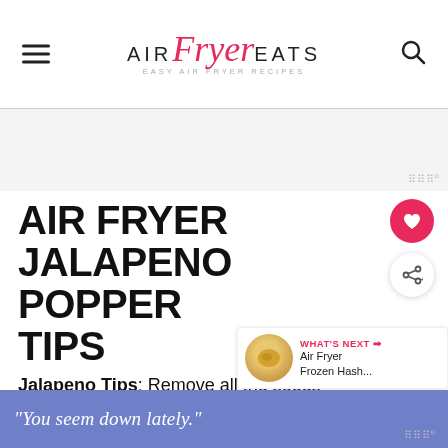AIR Fryer EATS — EASY AIR FRYER RECIPES
[Figure (other): Advertisement placeholder area with Mediavine badge]
AIR FRYER JALAPENO POPPER TIPS
Jalapeno Tips: Remove all the seeds and white membrane for less heat. You like to to
[Figure (other): What's Next promo card: Air Fryer Frozen Hash...]
"You seem down lately."